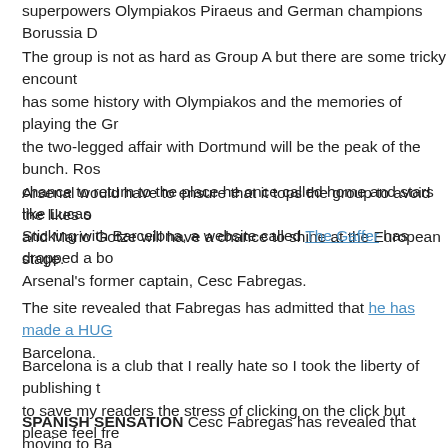superpowers Olympiakos Piraeus and German champions Borussia D...
The group is not as hard as Group A but there are some tricky encount... has some history with Olympiakos and the memories of playing the Gr... the two-legged affair with Dortmund will be the peak of the bunch. Ros... chance to return to the place he once called home and stars like Lucas... and Mario Gotze will have a chance to shine at the European stage.
Arsenal would have to ensure that it tops the group to avoid the likes o...
Sticking with Barcelona, a website called The Gaffer has dropped a bo... Arsenal's former captain, Cesc Fabregas.
The site revealed that Fabregas has admitted that he has made a HUG... Barcelona.
Barcelona is a club that I really hate so I took the liberty of publishing t... to save my readers the stress of clicking on the click but please feel fre...
SPANISH SENSATION Cesc Fabregas has revealed that moving to Ba... mistake of his life and is desperately lobbying the Champions' League... return home to his teenhood club Arsenal.
During his last three seasons in north London Fabregas made no secr...